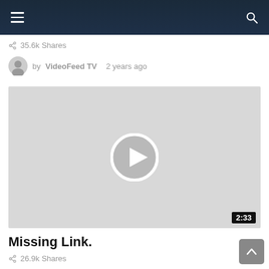Navigation header with hamburger menu and search icon
35.6k Shares
by VideoFeed TV  2 years ago
[Figure (screenshot): Video thumbnail placeholder (light gray) with play button circle in center and duration badge '2:33' in bottom right corner]
Missing Link.
26.9k Shares